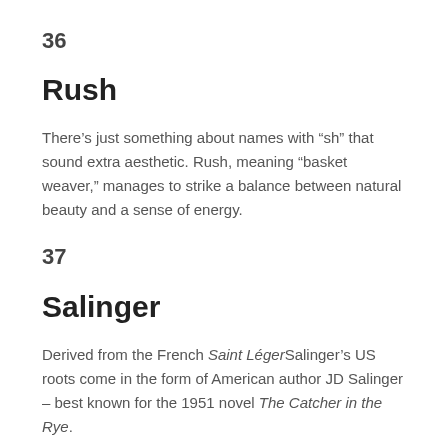36
Rush
There's just something about names with “sh” that sound extra aesthetic. Rush, meaning “basket weaver,” manages to strike a balance between natural beauty and a sense of energy.
37
Salinger
Derived from the French Saint LégerSalinger’s US roots come in the form of American author JD Salinger – best known for the 1951 novel The Catcher in the Rye.